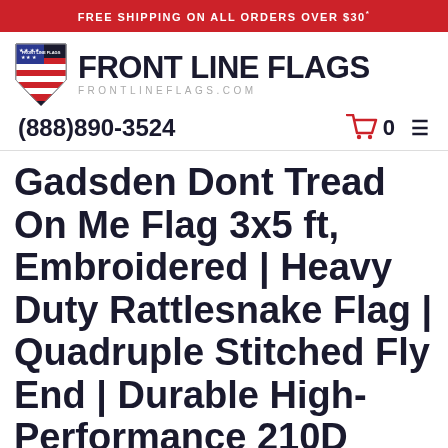FREE SHIPPING ON ALL ORDERS OVER $30*
[Figure (logo): Front Line Flags shield logo with stars and stripes, next to text FRONT LINE FLAGS and FRONTLINEFLAGS.COM]
(888)890-3524
Gadsden Dont Tread On Me Flag 3x5 ft, Embroidered | Heavy Duty Rattlesnake Flag | Quadruple Stitched Fly End | Durable High-Performance 210D Nylon